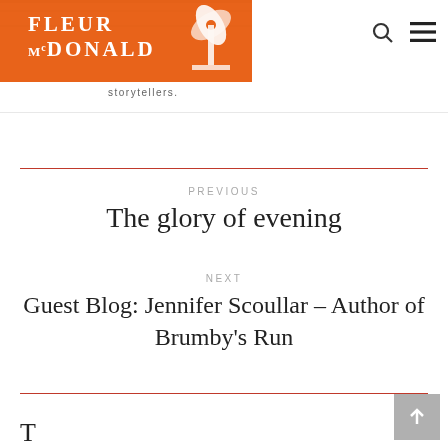FLEUR McDONALD storytellers.
PREVIOUS
The glory of evening
NEXT
Guest Blog: Jennifer Scoullar – Author of Brumby's Run